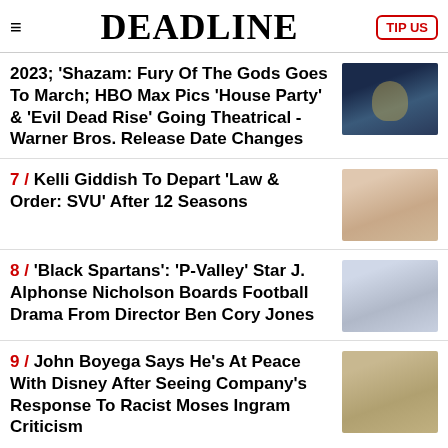DEADLINE
2023; 'Shazam: Fury Of The Gods Goes To March; HBO Max Pics 'House Party' & 'Evil Dead Rise' Going Theatrical - Warner Bros. Release Date Changes
7 / Kelli Giddish To Depart 'Law & Order: SVU' After 12 Seasons
8 / 'Black Spartans': 'P-Valley' Star J. Alphonse Nicholson Boards Football Drama From Director Ben Cory Jones
9 / John Boyega Says He's At Peace With Disney After Seeing Company's Response To Racist Moses Ingram Criticism